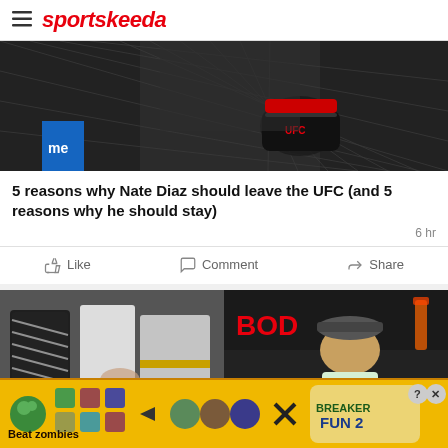sportskeeda
[Figure (photo): UFC fighter in octagon cage, wearing UFC gloves, MMA action shot]
5 reasons why Nate Diaz should leave the UFC (and 5 reasons why he should stay)
6 hr
Like   Comment   Share
[Figure (photo): Two-panel image: left shows martial arts competitors bowing/shaking hands with officials; right shows a man wearing a flat cap speaking into a UFC microphone at a press event with BOD... branding in background]
[Figure (photo): Advertisement banner: Beat zombies - Breaker Fun 2 mobile game ad with colorful game characters]